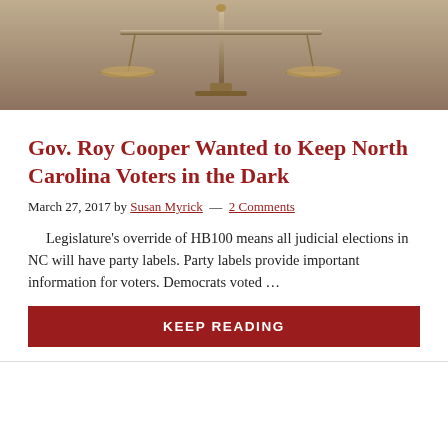[Figure (photo): Sepia-toned photograph of a balanced scale of justice against a gray background]
Gov. Roy Cooper Wanted to Keep North Carolina Voters in the Dark
March 27, 2017 by Susan Myrick — 2 Comments
Legislature's override of HB100 means all judicial elections in NC will have party labels. Party labels provide important information for voters. Democrats voted …
KEEP READING